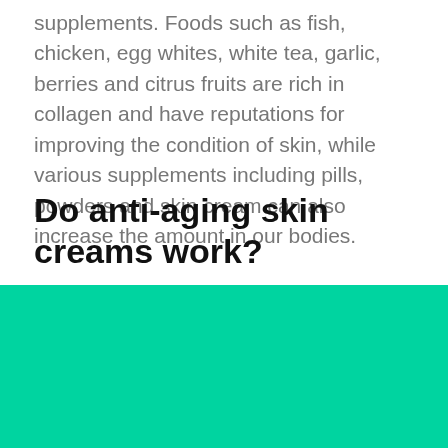supplements. Foods such as fish, chicken, egg whites, white tea, garlic, berries and citrus fruits are rich in collagen and have reputations for improving the condition of skin, while various supplements including pills, powders and skin cream can also increase the amount in our bodies.
Do anti-aging skin creams work?
One of the most common ways to reintroduce collagen is through topical application with a skin cream. The idea here is to directly place collagen on the skin in the hope it will be absorbed. However, more often than not,